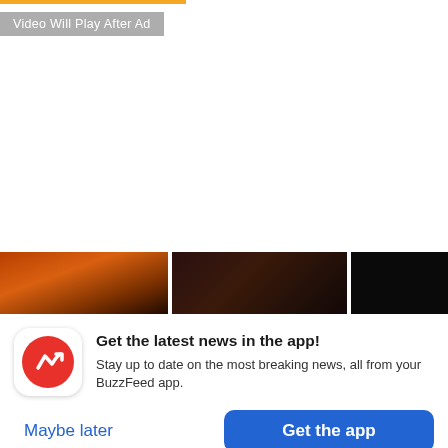Video Will Play After Ad
[Figure (screenshot): Video thumbnail strip showing three partially visible video thumbnails at the bottom of a video player area]
Get the latest news in the app!
Stay up to date on the most breaking news, all from your BuzzFeed app.
Maybe later
Get the app